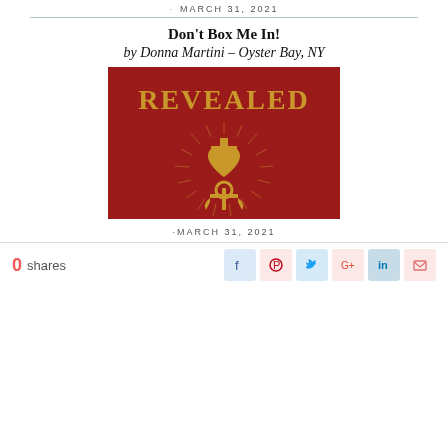· MARCH 31, 2021
Don't Box Me In!
by Donna Martini – Oyster Bay, NY
[Figure (illustration): Red background book cover with gold text 'REVEALED' and gold cross-heart-anchor religious symbol with radiating lines]
· MARCH 31, 2021
0 shares
[Figure (infographic): Social sharing buttons: Facebook, Pinterest, Twitter, Google+, LinkedIn, Email]